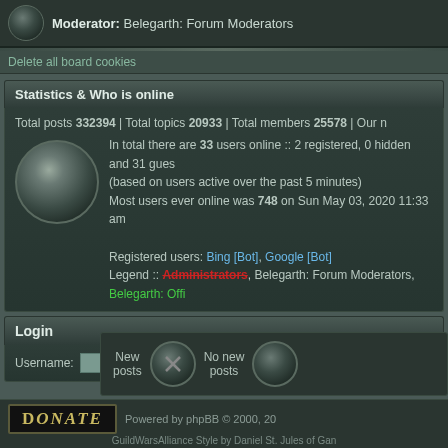Moderator: Belegarth: Forum Moderators
Delete all board cookies
Statistics & Who is online
Total posts 332394 | Total topics 20933 | Total members 25578 | Our n
In total there are 33 users online :: 2 registered, 0 hidden and 31 gues (based on users active over the past 5 minutes)
Most users ever online was 748 on Sun May 03, 2020 11:33 am
Registered users: Bing [Bot], Google [Bot]
Legend :: Administrators, Belegarth: Forum Moderators, Belegarth: Offi
Login
Username:  Password:  Log me on
[Figure (screenshot): New posts icon (crossed swords on dark circle) and No new posts icon]
[Figure (logo): Donate button with ornate text]
Powered by phpBB © 2000, 20...  GuildWarsAlliance Style by Daniel St. Jules of Gan